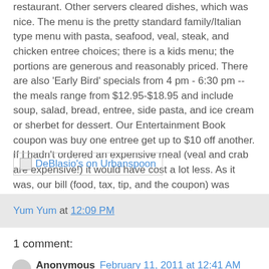restaurant. Other servers cleared dishes, which was nice. The menu is the pretty standard family/Italian type menu with pasta, seafood, veal, steak, and chicken entree choices; there is a kids menu; the portions are generous and reasonably priced. There are also 'Early Bird' specials from 4 pm - 6:30 pm -- the meals range from $12.95-$18.95 and include soup, salad, bread, entree, side pasta, and ice cream or sherbet for dessert. Our Entertainment Book coupon was buy one entree get up to $10 off another. If I hadn't ordered an expensive meal (veal and crab are expensive!) it would have cost a lot less. As it was, our bill (food, tax, tip, and the coupon) was about $60.
[Figure (other): DeBlasio's on Urbanspoon link with broken image icon]
Yum Yum at 12:09 PM
1 comment:
Anonymous February 11, 2011 at 12:41 AM